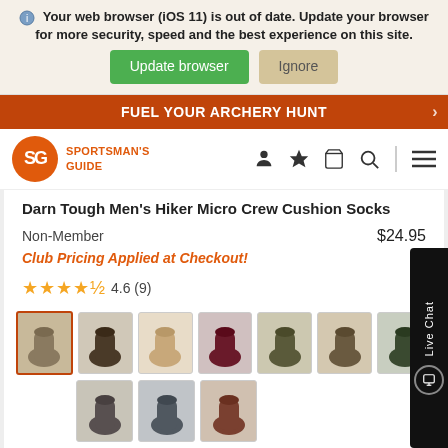Your web browser (iOS 11) is out of date. Update your browser for more security, speed and the best experience on this site.
Update browser | Ignore
FUEL YOUR ARCHERY HUNT
[Figure (logo): Sportsman's Guide logo with orange SG circle and text]
Darn Tough Men's Hiker Micro Crew Cushion Socks
Non-Member                $24.95
Club Pricing Applied at Checkout!
4.6 (9)
[Figure (photo): Product color swatches showing multiple sock color options including olive, dark brown, tan, burgundy, dark green, brown, and other colors]